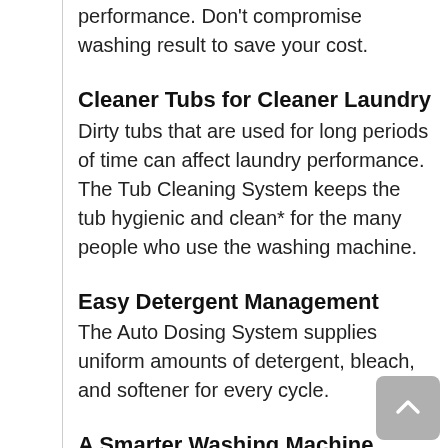performance. Don't compromise washing result to save your cost.
Cleaner Tubs for Cleaner Laundry
Dirty tubs that are used for long periods of time can affect laundry performance. The Tub Cleaning System keeps the tub hygienic and clean* for the many people who use the washing machine.
Easy Detergent Management
The Auto Dosing System supplies uniform amounts of detergent, bleach, and softener for every cycle.
A Smarter Washing Machine
Quickly check the laundry status, monitor the usage patterns and